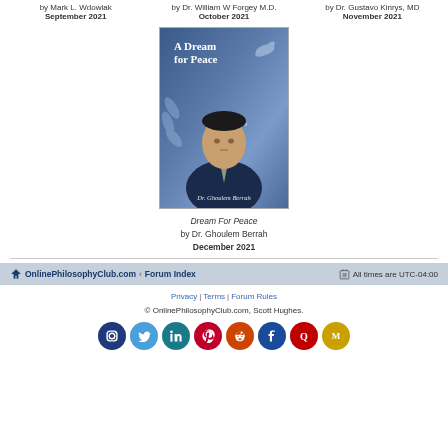by Mark L. Wdowiak
September 2021
by Dr. William W Forgey M.D.
October 2021
by Dr. Gustavo Kinrys, MD
November 2021
[Figure (illustration): Book cover of 'A Dream for Peace' by Dr. Ghoulem Berrah, showing a man in a suit on a blue background with leaf and dove motifs, subtitle 'An Ambassador's Memoir']
Dream For Peace
by Dr. Ghoulem Berrah
December 2021
OnlinePhilosophyClub.com · Forum Index    All times are UTC-04:00
Privacy | Terms | Forum Rules
© OnlinePhilosophyClub.com, Scott Hughes.